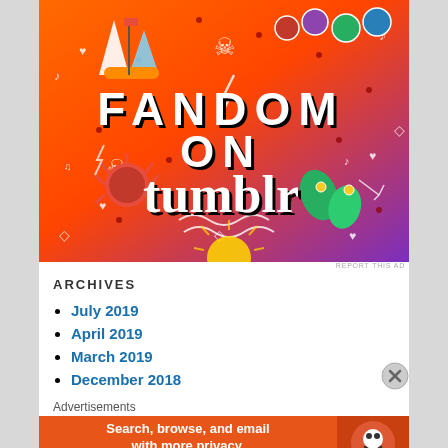[Figure (illustration): Fandom on Tumblr promotional banner with orange-to-purple gradient background, white doodle stickers (skulls, arrows, hearts, music notes), a sailboat sticker, red spider/sun sticker, green leaf stickers, and bold text reading FANDOM ON tumblr]
REPORT THIS AD
ARCHIVES
July 2019
April 2019
March 2019
December 2018
Advertisements
[Figure (illustration): DuckDuckGo advertisement banner: orange background with text 'Search, browse, and email with more privacy. All in One Free App' and DuckDuckGo duck logo on right side]